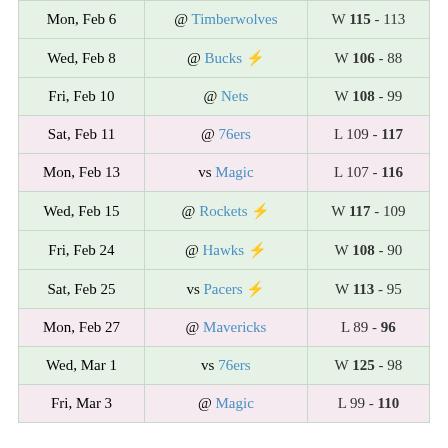| Date | Opponent | Result |
| --- | --- | --- |
| Mon, Feb 6 | @ Timberwolves | W 115 - 113 |
| Wed, Feb 8 | @ Bucks ⚡ | W 106 - 88 |
| Fri, Feb 10 | @ Nets | W 108 - 99 |
| Sat, Feb 11 | @ 76ers | L 109 - 117 |
| Mon, Feb 13 | vs Magic | L 107 - 116 |
| Wed, Feb 15 | @ Rockets ⚡ | W 117 - 109 |
| Fri, Feb 24 | @ Hawks ⚡ | W 108 - 90 |
| Sat, Feb 25 | vs Pacers ⚡ | W 113 - 95 |
| Mon, Feb 27 | @ Mavericks | L 89 - 96 |
| Wed, Mar 1 | vs 76ers | W 125 - 98 |
| Fri, Mar 3 | @ Magic | L 99 - 110 |